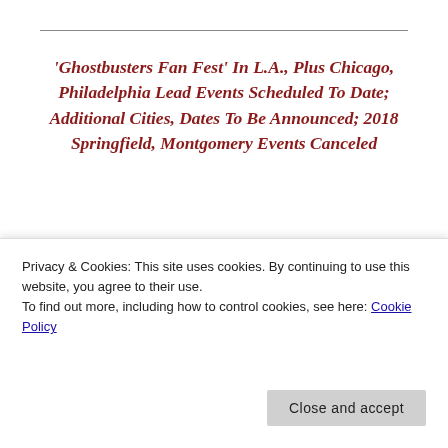'Ghostbusters Fan Fest' In L.A., Plus Chicago, Philadelphia Lead Events Scheduled To Date; Additional Cities, Dates To Be Announced; 2018 Springfield, Montgomery Events Canceled
LOS ANGELES, August 30, 2018 – With several of its traditional cities plus the exciting " Ghostbusters Fan Fest" as highlights, Wizard Wizard World, Inc. (OTCBB: WIZD) today announced the initial 11 events to be held in 2019,
Privacy & Cookies: This site uses cookies. By continuing to use this website, you agree to their use.
To find out more, including how to control cookies, see here: Cookie Policy
Wizard World also announced that its